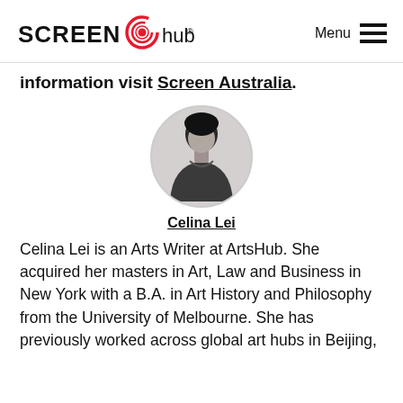SCREEN hub Menu
…information visit Screen Australia.
[Figure (photo): Circular black and white headshot photo of Celina Lei]
Celina Lei
Celina Lei is an Arts Writer at ArtsHub. She acquired her masters in Art, Law and Business in New York with a B.A. in Art History and Philosophy from the University of Melbourne. She has previously worked across global art hubs in Beijing, Hong Kong and New York in both the commercial…